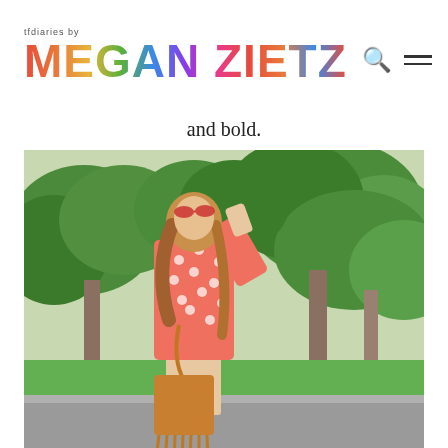tfdiaries by MEGAN ZIETZ
and bold.
[Figure (photo): Young woman in orange and white printed long-sleeve shift dress, red oversized sunglasses, and tan suede fringe tote bag, posing outdoors on a driveway with lush green trees in background.]